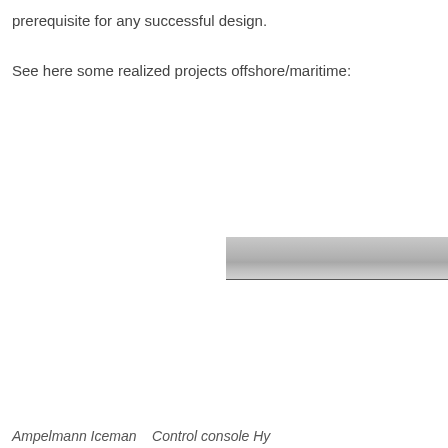prerequisite for any successful design.
See here some realized projects offshore/maritime:
[Figure (photo): Partial view of a control console or panel, showing a gray/silver horizontal surface or component, partially cropped at the right edge of the page.]
Ampelmann Iceman   Control console Hy